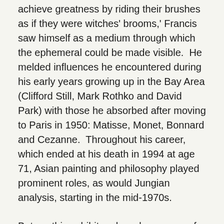achieve greatness by riding their brushes as if they were witches' brooms,' Francis saw himself as a medium through which the ephemeral could be made visible.  He melded influences he encountered during his early years growing up in the Bay Area (Clifford Still, Mark Rothko and David Park) with those he absorbed after moving to Paris in 1950: Matisse, Monet, Bonnard and Cezanne.  Throughout his career, which ended at his death in 1994 at age 71, Asian painting and philosophy played prominent roles, as would Jungian analysis, starting in the mid-1970s.
But, as this exhibit makes clear, some of the strongest influences on Francis' approach to painting were his own near-death experiences. They arrived at regular intervals.  The first came after a WWII air training exercise, when it was discovered, following a